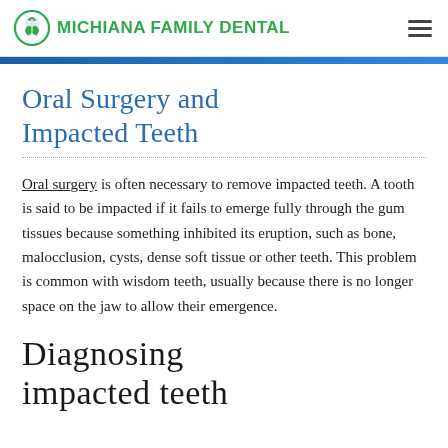MICHIANA FAMILY DENTAL
Oral Surgery and Impacted Teeth
Oral surgery is often necessary to remove impacted teeth. A tooth is said to be impacted if it fails to emerge fully through the gum tissues because something inhibited its eruption, such as bone, malocclusion, cysts, dense soft tissue or other teeth. This problem is common with wisdom teeth, usually because there is no longer space on the jaw to allow their emergence.
Diagnosing Impacted Teeth